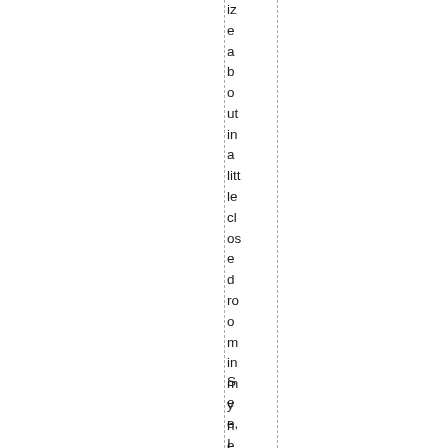ize about in a little closed room in my head.
See, I lo us